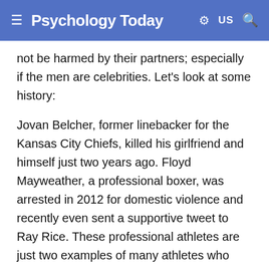Psychology Today | US
not be harmed by their partners; especially if the men are celebrities. Let's look at some history:
Jovan Belcher, former linebacker for the Kansas City Chiefs, killed his girlfriend and himself just two years ago. Floyd Mayweather, a professional boxer, was arrested in 2012 for domestic violence and recently even sent a supportive tweet to Ray Rice. These professional athletes are just two examples of many athletes who believe their acts of violence are above the law.
In 2013, School officials in Steubenville, Ohio were arrested for covering up evidence in the case of